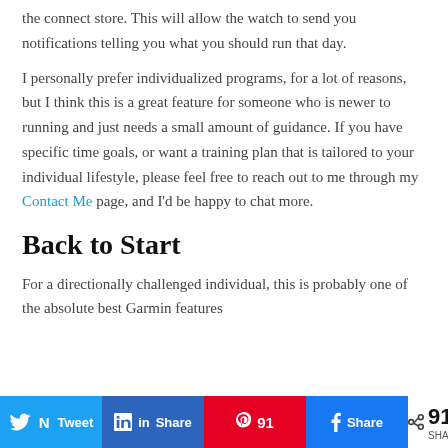the connect store. This will allow the watch to send you notifications telling you what you should run that day.
I personally prefer individualized programs, for a lot of reasons, but I think this is a great feature for someone who is newer to running and just needs a small amount of guidance. If you have specific time goals, or want a training plan that is tailored to your individual lifestyle, please feel free to reach out to me through my Contact Me page, and I'd be happy to chat more.
Back to Start
For a directionally challenged individual, this is probably one of the absolute best Garmin features
[Figure (infographic): Social share bar with Twitter, LinkedIn, Pinterest (91), Facebook buttons and share count of 91 SHARES]